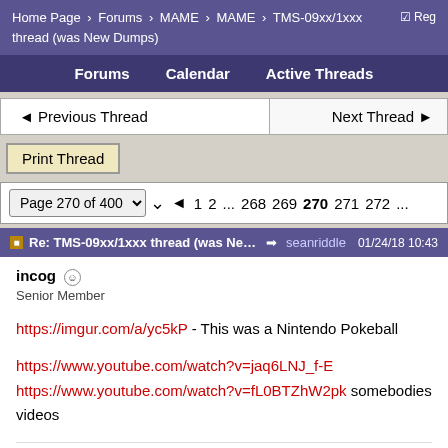Home Page > Forums > MAME > MAME > TMS-09xx/1xxx thread (was New Dumps)
Forums   Calendar   Active Threads
◄ Previous Thread   Next Thread ►
Print Thread
Page 270 of 400  ◄  1  2  ...  268  269  270  271  272  ...
Re: TMS-09xx/1xxx thread (was New ...  → seanriddle  01/24/18 10:43
incog  ☺
Senior Member
https://imgur.com/a/yc5kP - This was a Nintendo Pokeball
https://www.youtube.com/watch?v=jaq6LNJ_f-E https://www.youtube.com/watch?v=fL0BTZhW2pk somebodies videos
Last edited by incog; 01/24/18 11:11 PM.